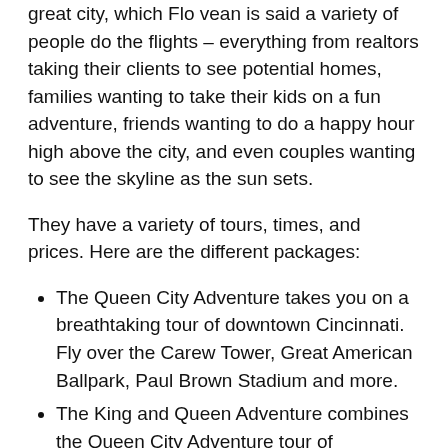great city, which Flo vean is said a variety of people do the flights – everything from realtors taking their clients to see potential homes, families wanting to take their kids on a fun adventure, friends wanting to do a happy hour high above the city, and even couples wanting to see the skyline as the sun sets.
They have a variety of tours, times, and prices. Here are the different packages:
The Queen City Adventure takes you on a breathtaking tour of downtown Cincinnati. Fly over the Carew Tower, Great American Ballpark, Paul Brown Stadium and more.
The King and Queen Adventure combines the Queen City Adventure tour of downtown Cincinnati with a tour of Kings Island, the largest amusement and water park in the Midwest.
The Grand Adventure allows you to customize your own flight plan through Cincinnati's beautiful river region. They